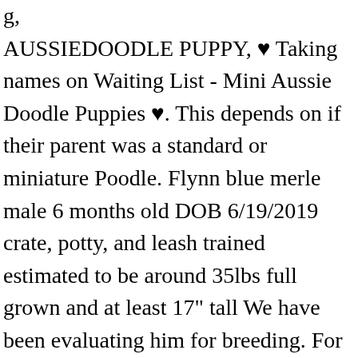g, AUSSIEDOODLE PUPPY, ♥ Taking names on Waiting List - Mini Aussie Doodle Puppies ♥. This depends on if their parent was a standard or miniature Poodle. Flynn blue merle male 6 months old DOB 6/19/2019 crate, potty, and leash trained estimated to be around 35lbs full grown and at least 17" tall We have been evaluating him for breeding. For more info and to get on the waiting list, check www.fetchinghearts.com or message through Kijiji. A Standard Aussiedoodle will be 18 to 23 inches. They will be: Dewormed First shots